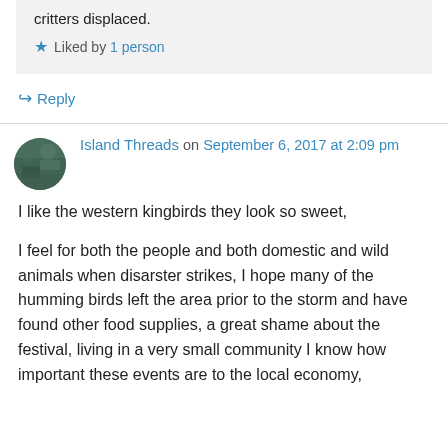critters displaced.
★ Liked by 1 person
↳ Reply
Island Threads on September 6, 2017 at 2:09 pm
I like the western kingbirds they look so sweet,
I feel for both the people and both domestic and wild animals when disarster strikes, I hope many of the humming birds left the area prior to the storm and have found other food supplies, a great shame about the festival, living in a very small community I know how important these events are to the local economy,